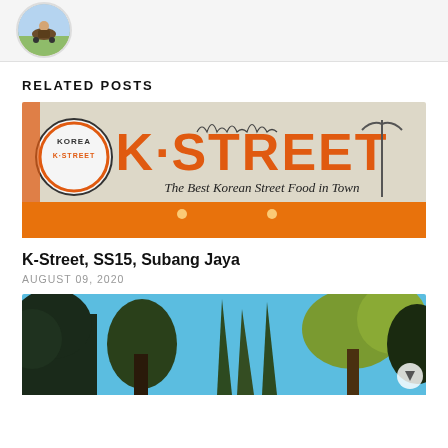[Figure (photo): Circular avatar photo showing a person on a vehicle outdoors]
RELATED POSTS
[Figure (photo): Photo of K-Street restaurant signage reading 'K-STREET - The Best Korean Street Food in Town' with orange awning]
K-Street, SS15, Subang Jaya
AUGUST 09, 2020
[Figure (photo): Photo of tall trees against a bright blue sky]